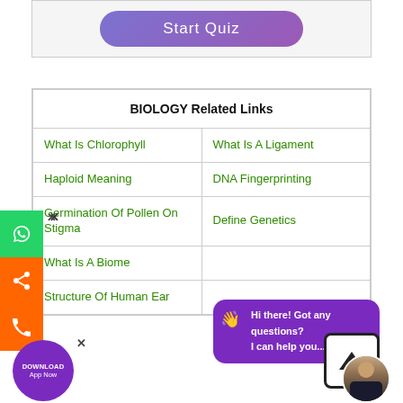[Figure (screenshot): Start Quiz button with purple gradient background]
| BIOLOGY Related Links |  |
| --- | --- |
| What Is Chlorophyll | What Is A Ligament |
| Haploid Meaning | DNA Fingerprinting |
| Germination Of Pollen On Stigma | Define Genetics |
| What Is A Biome |  |
| Structure Of Human Ear |  |
[Figure (screenshot): Left sidebar with WhatsApp, share, and phone icons in green and orange]
[Figure (screenshot): Purple chat bubble saying Hi there! Got any questions? I can help you...]
[Figure (screenshot): Download App Now purple circular badge]
[Figure (screenshot): Up arrow navigation button in bordered box]
[Figure (photo): Profile avatar of a person in suit]